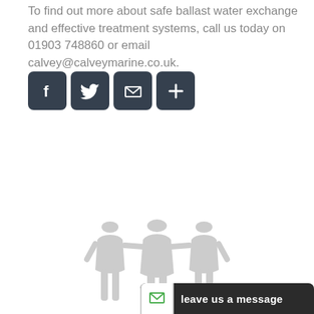To find out more about safe ballast water exchange and effective treatment systems, call us today on 01903 748860 or email calvey@calveymarine.co.uk.
[Figure (infographic): Four social media / sharing icon buttons: Facebook (f), Twitter (bird), Email (envelope), More/Share (plus sign) — dark charcoal rounded square buttons with white icons]
[Figure (illustration): Three grey silhouette figures of people holding hands, representing teamwork or community]
leave us a message